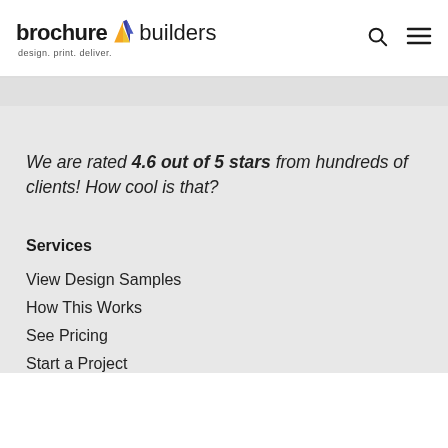brochure builders — design. print. deliver.
We are rated 4.6 out of 5 stars from hundreds of clients! How cool is that?
Services
View Design Samples
How This Works
See Pricing
Start a Project